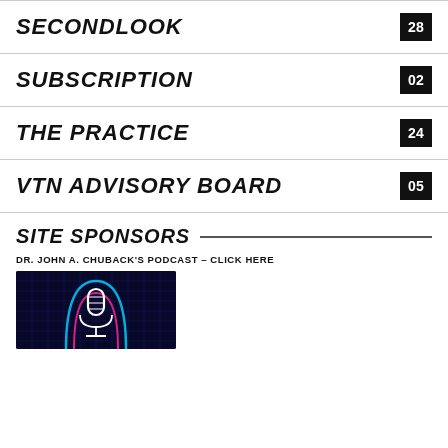SECONDLOOK 28
SUBSCRIPTION 02
THE PRACTICE 24
VTN ADVISORY BOARD 05
SITE SPONSORS
DR. JOHN A. CHUBACK'S PODCAST – CLICK HERE
[Figure (photo): Podcast cover image with microphone icon on dark blue neon background]